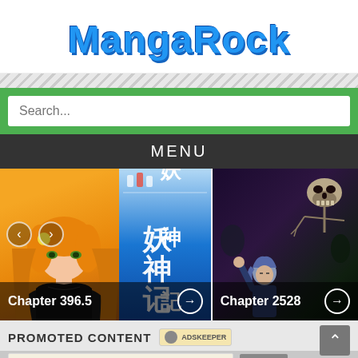[Figure (screenshot): MangaRock website logo — blue bold stylized text 'MangaRock' with dark outline on white background]
[Figure (screenshot): Green search bar with white search input box containing placeholder text 'Search...']
MENU
[Figure (screenshot): Two manga thumbnail panels side by side. Left: anime girl with orange hair and Chinese characters (妖神记). Right: dark fantasy scene with skeletal figure and warrior character. Left shows 'Chapter 396.5', right shows 'Chapter 2528'.]
PROMOTED CONTENT
[Figure (logo): AdsKeeper badge with circular icon]